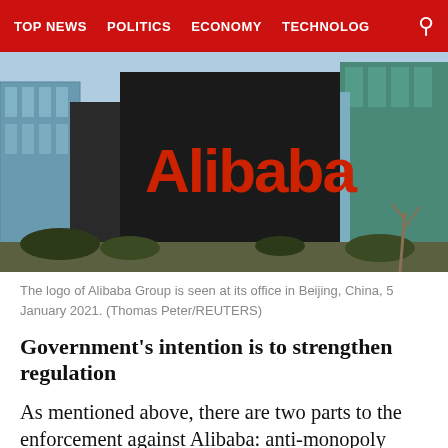TOP NEWS  POLITICS  ECONOMY  TECHNOLOG
[Figure (photo): The Alibaba Group logo sign on a large dark monolith structure in front of glass office buildings in Beijing, China.]
The logo of Alibaba Group is seen at its office in Beijing, China, 5 January 2021. (Thomas Peter/REUTERS)
Government's intention is to strengthen regulation
As mentioned above, there are two parts to the enforcement against Alibaba: anti-monopoly under the SAMR, and financial regulation under